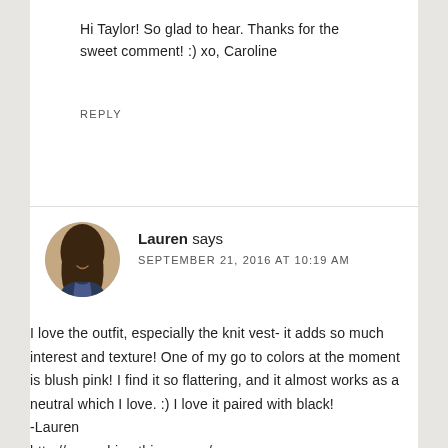Hi Taylor! So glad to hear. Thanks for the sweet comment! :) xo, Caroline
REPLY
Lauren says
SEPTEMBER 21, 2016 AT 10:19 AM
I love the outfit, especially the knit vest- it adds so much interest and texture! One of my go to colors at the moment is blush pink! I find it so flattering, and it almost works as a neutral which I love. :) I love it paired with black!
-Lauren
http://www.chic-ethique.com/